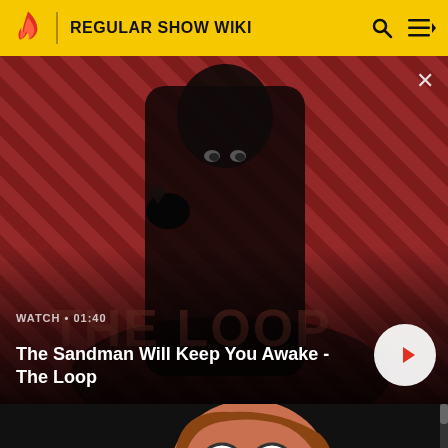REGULAR SHOW WIKI
[Figure (screenshot): Video banner showing a man in black with a raven on his shoulder against a red diagonal striped background. Text overlay: WATCH • 01:40, The Sandman Will Keep You Awake - The Loop, with a play button on the right.]
[Figure (illustration): Cartoon animation frame showing a character with large round glasses, fangs, brown hair with swirl highlights, on a black background.]